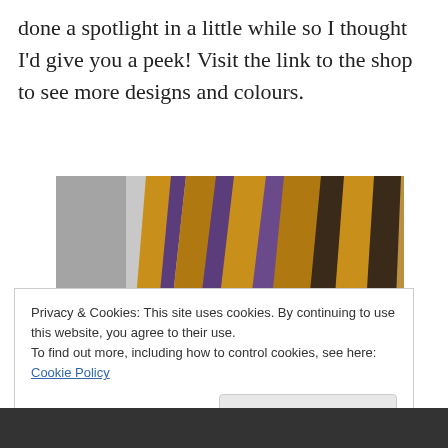done a spotlight in a little while so I thought I'd give you a peek! Visit the link to the shop to see more designs and colours.
[Figure (photo): Close-up photograph of a folded fan with alternating brown and purple/dark stripes, against a grey background.]
Privacy & Cookies: This site uses cookies. By continuing to use this website, you agree to their use.
To find out more, including how to control cookies, see here: Cookie Policy
Close and accept